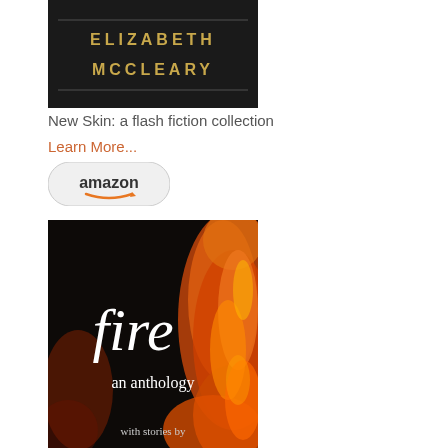[Figure (illustration): Book cover for 'New Skin: a flash fiction collection' by Elizabeth McCleary — gold text on dark background]
New Skin: a flash fiction collection
Learn More...
[Figure (logo): Amazon buy button with orange smile logo]
[Figure (illustration): Book cover for 'fire: an anthology' — white serif text over dramatic fire/flames photography on dark background, with text 'with stories by' at bottom]